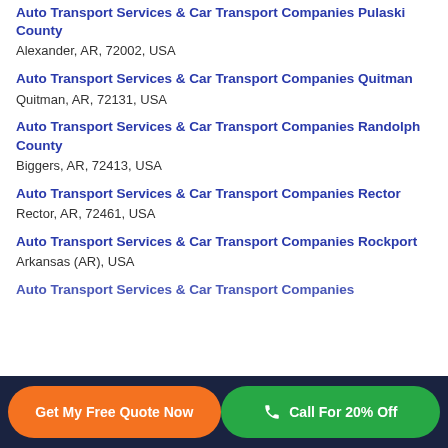Auto Transport Services & Car Transport Companies Pulaski County
Alexander, AR, 72002, USA
Auto Transport Services & Car Transport Companies Quitman
Quitman, AR, 72131, USA
Auto Transport Services & Car Transport Companies Randolph County
Biggers, AR, 72413, USA
Auto Transport Services & Car Transport Companies Rector
Rector, AR, 72461, USA
Auto Transport Services & Car Transport Companies Rockport
Arkansas (AR), USA
Auto Transport Services & Car Transport Companies
Get My Free Quote Now | Call For 20% Off